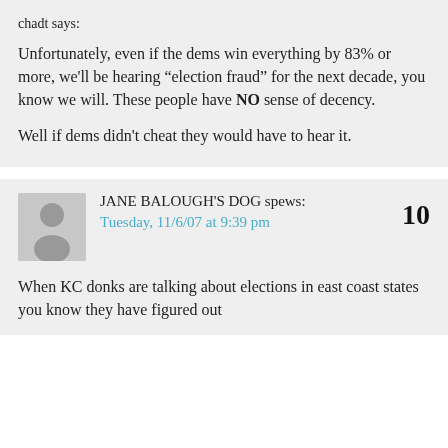chadt says:
Unfortunately, even if the dems win everything by 83% or more, we'll be hearing “election fraud” for the next decade, you know we will. These people have NO sense of decency.
Well if dems didn't cheat they would have to hear it.
JANE BALOUGH'S DOG spews:
Tuesday, 11/6/07 at 9:39 pm
10
When KC donks are talking about elections in east coast states you know they have figured out the...